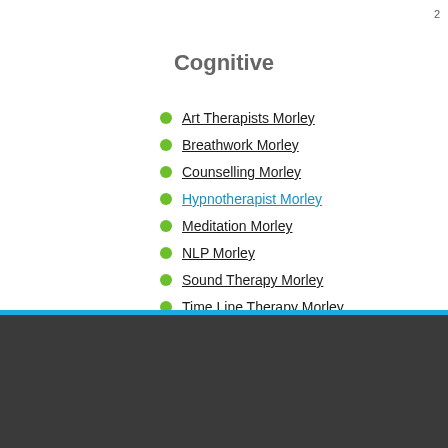2
Cognitive
Art Therapists Morley
Breathwork Morley
Counselling Morley
Hypnotherapist Morley
Meditation Morley
NLP Morley
Sound Therapy Morley
Time Line Therapy Morley
Directory  Massage  Natural Medicine  Beauty  Yoga  Spiritual  Exercise &  Practitioners  Schools  Room for Rent